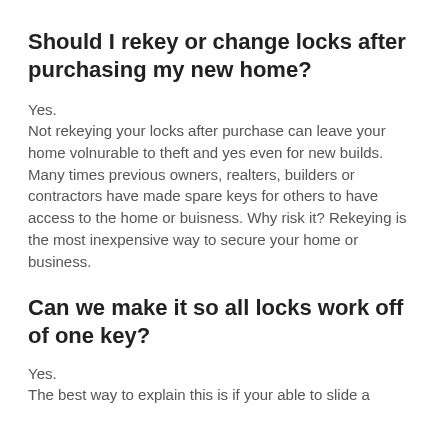Should I rekey or change locks after purchasing my new home?
Yes.
Not rekeying your locks after purchase can leave your home volnurable to theft and yes even for new builds. Many times previous owners, realters, builders or contractors have made spare keys for others to have access to the home or buisness. Why risk it? Rekeying is the most inexpensive way to secure your home or business.
Can we make it so all locks work off of one key?
Yes.
The best way to explain this is if your able to slide a